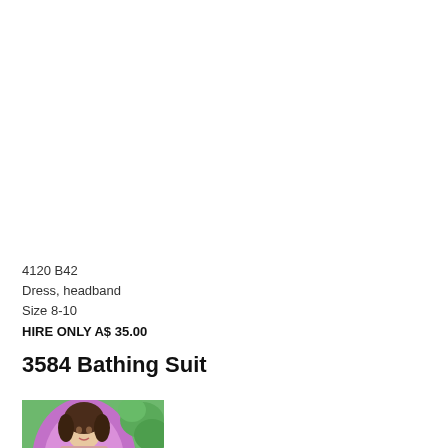4120 B42
Dress, headband
Size 8-10
HIRE ONLY A$ 35.00
3584 Bathing Suit
[Figure (photo): Partial view of a vintage-style illustration or photo showing a woman in a bathing suit with a pink/purple circular background and green foliage background, cropped at bottom of page.]